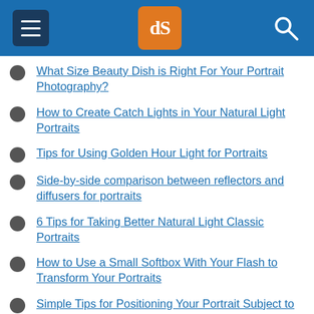dPS header with menu, logo, and search
What Size Beauty Dish is Right For Your Portrait Photography?
How to Create Catch Lights in Your Natural Light Portraits
Tips for Using Golden Hour Light for Portraits
Side-by-side comparison between reflectors and diffusers for portraits
6 Tips for Taking Better Natural Light Classic Portraits
How to Use a Small Softbox With Your Flash to Transform Your Portraits
Simple Tips for Positioning Your Portrait Subject to Leverag… Natural Light